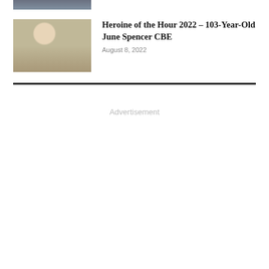[Figure (photo): Partial view of a person (top portion cropped), appearing at the very top of the page]
[Figure (photo): Elderly woman with white hair sitting on a sofa, smiling, wearing a white top and blue patterned skirt/blanket]
Heroine of the Hour 2022 – 103-Year-Old June Spencer CBE
August 8, 2022
Advertisement